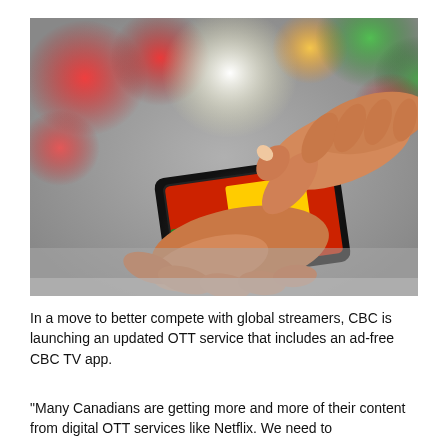[Figure (photo): Close-up photo of two hands using a smartphone, touching the screen. The background has colorful bokeh lights in red, green, orange, and white tones on a blurred grey backdrop.]
In a move to better compete with global streamers, CBC is launching an updated OTT service that includes an ad-free CBC TV app.
“Many Canadians are getting more and more of their content from digital OTT services like Netflix. We need to